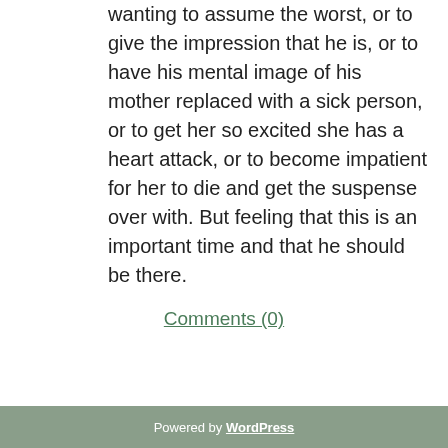wanting to assume the worst, or to give the impression that he is, or to have his mental image of his mother replaced with a sick person, or to get her so excited she has a heart attack, or to become impatient for her to die and get the suspense over with. But feeling that this is an important time and that he should be there.
Comments (0)
Powered by WordPress